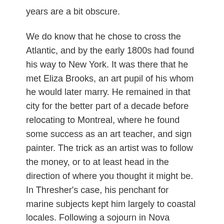years are a bit obscure.
We do know that he chose to cross the Atlantic, and by the early 1800s had found his way to New York. It was there that he met Eliza Brooks, an art pupil of his whom he would later marry. He remained in that city for the better part of a decade before relocating to Montreal, where he found some success as an art teacher, and sign painter. The trick as an artist was to follow the money, or to at least head in the direction of where you thought it might be. In Thresher's case, his penchant for marine subjects kept him largely to coastal locales. Following a sojourn in Nova Scotia, where he again attempted to operate an art academy, his journey eventually landed him in Prince Edward Island.